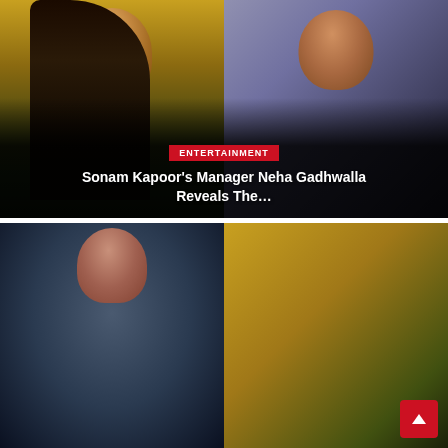[Figure (photo): Two women side by side — left woman against yellow background with black outfit, dark long hair; right woman against purple/grey background with black jacket, shorter hair — entertainment news thumbnail]
ENTERTAINMENT
Sonam Kapoor's Manager Neha Gadhwalla Reveals The…
[Figure (photo): Two photos of a young woman in a blue outfit — left photo shows her face smiling, right photo shows her back/updo hairstyle against outdoor background]